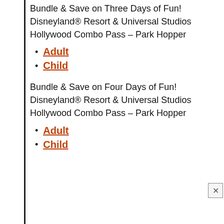Bundle & Save on Three Days of Fun! Disneyland® Resort & Universal Studios Hollywood Combo Pass – Park Hopper
Adult
Child
Bundle & Save on Four Days of Fun! Disneyland® Resort & Universal Studios Hollywood Combo Pass – Park Hopper
Adult
Child